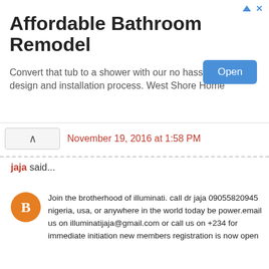[Figure (screenshot): Advertisement banner for Affordable Bathroom Remodel by West Shore Home with Open button]
November 19, 2016 at 1:58 PM
jaja said...
Join the brotherhood of illuminati. call dr jaja 09055820945 nigeria, usa, or anywhere in the world today be power.email us on illuminatijaja@gmail.com or call us on +234 for immediate initiation new members registration is now open
benefits given to new members who join illuminati.
a cash reward of usd $300,000 usd
a new sleek dream car valued at usd $120,000 usd
a dream house bought in the country of your own choice
one month holiday (fully paid) to your dream tourist destination
one year golf membership package
a v.i.p treatment in all airports in the world